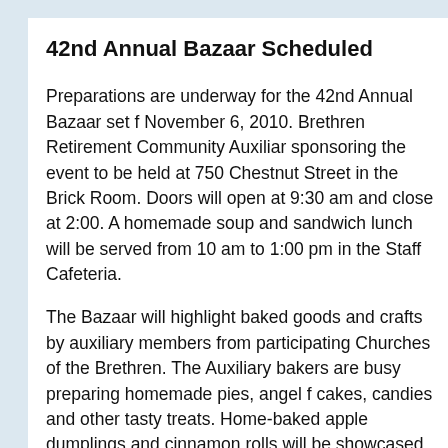42nd Annual Bazaar Scheduled
Preparations are underway for the 42nd Annual Bazaar set f... November 6, 2010. Brethren Retirement Community Auxiliar... sponsoring the event to be held at 750 Chestnut Street in the... Brick Room. Doors will open at 9:30 am and close at 2:00. A... homemade soup and sandwich lunch will be served from 10... am to 1:00 pm in the Staff Cafeteria.
The Bazaar will highlight baked goods and crafts by auxiliary... members from participating Churches of the Brethren. The... Auxiliary bakers are busy preparing homemade pies, angel f... cakes, candies and other tasty treats. Home-baked apple... dumplings and cinnamon rolls will be showcased. Pecan pie... Ron will be available along with mincemeat, gooseberry and... favorites. Items will be ready for use or to freeze for the holid...
Hot spice cider and frozen cider slushies will tempt your tast... Crafty members will offer crocheted and knitted Afghans...